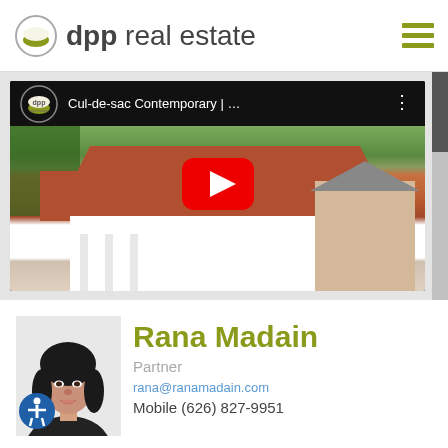dpp real estate
[Figure (screenshot): YouTube video thumbnail showing a house with red tile roof from aerial view, with dpp logo and title 'Cul-de-sac Contemporary | ...' and a red YouTube play button in the center]
[Figure (photo): Headshot photo of Rana Madain, a woman with dark curly hair wearing a dark jacket]
Rana Madain
Partner
rana@ranamadain.com
Mobile (626) 827-9951